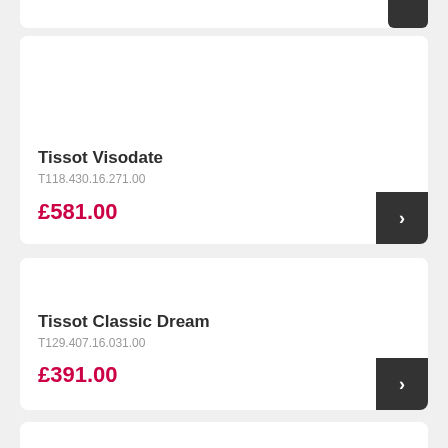Tissot Visodate
T118.430.16.271.00
£581.00
Tissot Classic Dream
T129.407.16.031.00
£391.00